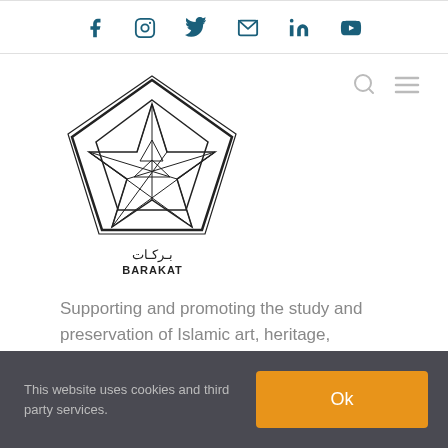Social media icons: Facebook, Instagram, Twitter, Email, LinkedIn, YouTube
[Figure (logo): Barakat logo — geometric star/pentagon Islamic pattern in black and white with Arabic text بركات and BARAKAT below]
Supporting and promoting the study and preservation of Islamic art, heritage, architecture and culture for future generations
This website uses cookies and third party services.